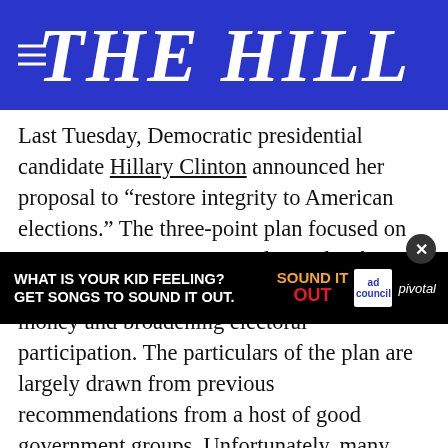THE HILL
Last Tuesday, Democratic presidential candidate Hillary Clinton announced her proposal to “restore integrity to American elections.” The three-point plan focused on overturning Citizens United v. Federal Election Commission, limiting secret political money and broadening electoral participation. The particulars of the plan are largely drawn from previous recommendations from a host of good government groups. Unfortunately, many important details — such as the level of matching of small donations, what vigorous enforcement actually means, and how timely disclosure of
[Figure (other): Advertisement banner: WHAT IS YOUR KID FEELING? GET SONGS TO SOUND IT OUT. Sound It Out ad with Ad Council and Pivotal logos.]